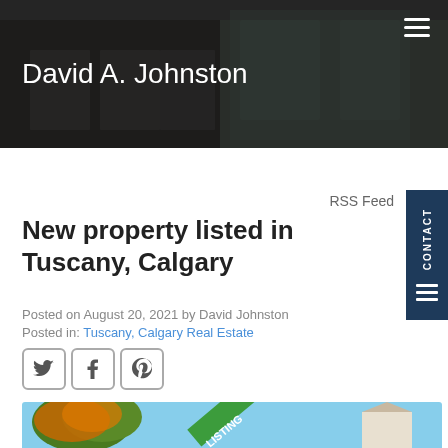[Figure (photo): Website header banner showing a modern kitchen/living space with dark overlay. Text 'David A. Johnston' in white on the left, hamburger menu icon on the right.]
David A. Johnston
RSS Feed
New property listed in Tuscany, Calgary
Posted on August 20, 2021 by David Johnston
Posted in: Tuscany, Calgary Real Estate
[Figure (other): Social media icons: Twitter, Facebook, Pinterest]
[Figure (photo): Partial view of a property listing photo showing trees with orange/red leaves and a building with blue sky background. A green 'NEW LISTING' ribbon badge is visible.]